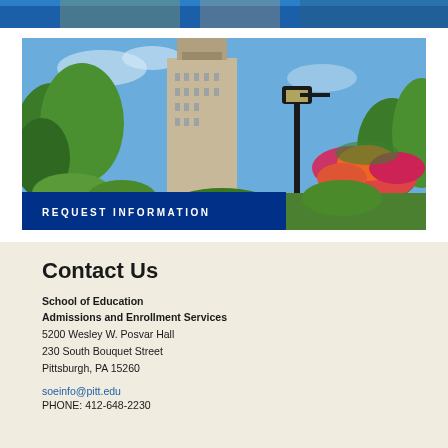[Figure (photo): Partial top strip of a photo showing a blue sky and what appears to be a building or statue detail]
[Figure (photo): Photo of the Cathedral of Learning at University of Pittsburgh surrounded by green trees and a lamppost with hanging flower baskets against a blue sky]
REQUEST INFORMATION
Contact Us
School of Education
Admissions and Enrollment Services
5200 Wesley W. Posvar Hall
230 South Bouquet Street
Pittsburgh, PA 15260
soeinfo@pitt.edu
PHONE: 412-648-2230